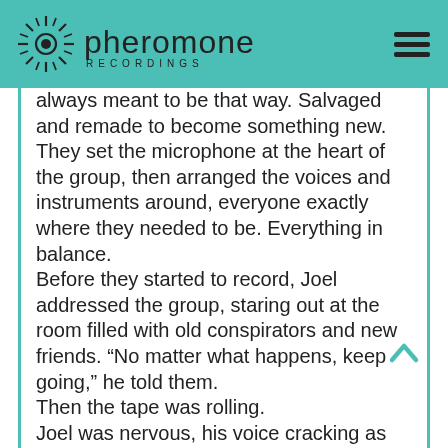Pheromone Recordings
always meant to be that way. Salvaged and remade to become something new.
They set the microphone at the heart of the group, then arranged the voices and instruments around, everyone exactly where they needed to be. Everything in balance.
Before they started to record, Joel addressed the group, staring out at the room filled with old conspirators and new friends. “No matter what happens, keep going,” he told them.
Then the tape was rolling.
Joel was nervous, his voice cracking as he sang. There’s a place I start, in the corner of my heart, that could take this world apart and put it together. He was alone at first, just him and his guitar, the song growing richer and fuller as others joined.
“We can’t hear your vocals,” Bob said, after